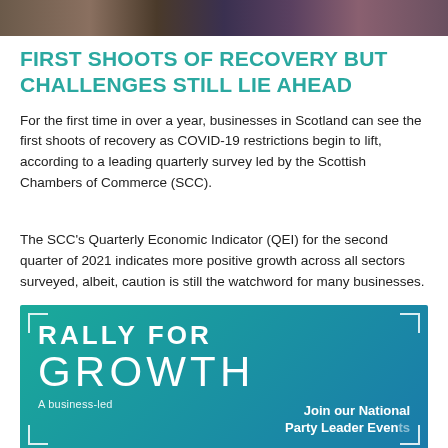[Figure (photo): Photo strip showing people at the top of the page]
FIRST SHOOTS OF RECOVERY BUT CHALLENGES STILL LIE AHEAD
For the first time in over a year, businesses in Scotland can see the first shoots of recovery as COVID-19 restrictions begin to lift, according to a leading quarterly survey led by the Scottish Chambers of Commerce (SCC).
The SCC's Quarterly Economic Indicator (QEI) for the second quarter of 2021 indicates more positive growth across all sectors surveyed, albeit, caution is still the watchword for many businesses.
[Figure (infographic): Rally for Growth banner with teal-to-blue gradient background, bracket corner decorations, large text reading RALLY FOR GROWTH, subtext 'A business-led' on the left, and 'Join our National Party Leader Events' on the bottom right]